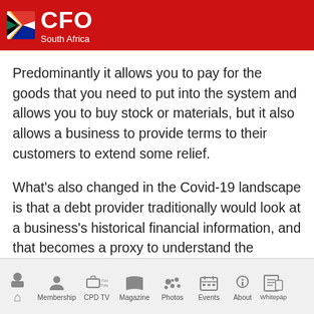CFO South Africa
Predominantly it allows you to pay for the goods that you need to put into the system and allows you to buy stock or materials, but it also allows a business to provide terms to their customers to extend some relief.
What's also changed in the Covid-19 landscape is that a debt provider traditionally would look at a business's historical financial information, and that becomes a proxy to understand the capacity for borrowing. However, lines between debt and equity in
Home | Membership | CPD TV | Magazine | Photos | Events | About | Whitepaper